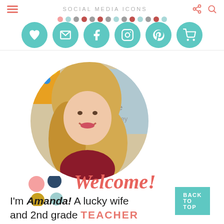SOCIAL MEDIA ICONS
[Figure (illustration): Social media icon circles row with teal circles containing heart, email, facebook, instagram, pinterest, and shopping cart icons]
[Figure (photo): Circular cropped profile photo of a blonde woman smiling in a classroom]
Welcome!
I'm Amanda! A lucky wife and 2nd grade TEACHER